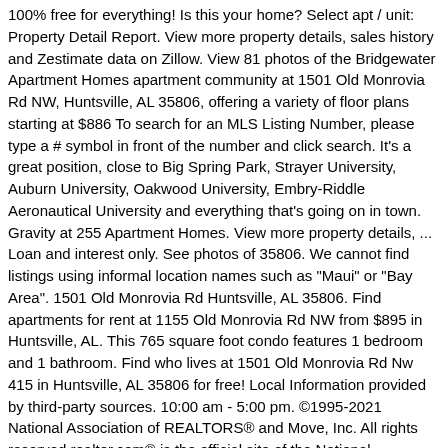100% free for everything! Is this your home? Select apt / unit: Property Detail Report. View more property details, sales history and Zestimate data on Zillow. View 81 photos of the Bridgewater Apartment Homes apartment community at 1501 Old Monrovia Rd NW, Huntsville, AL 35806, offering a variety of floor plans starting at $886 To search for an MLS Listing Number, please type a # symbol in front of the number and click search. It's a great position, close to Big Spring Park, Strayer University, Auburn University, Oakwood University, Embry-Riddle Aeronautical University and everything that's going on in town. Gravity at 255 Apartment Homes. View more property details, ... Loan and interest only. See photos of 35806. We cannot find listings using informal location names such as "Maui" or "Bay Area". 1501 Old Monrovia Rd Huntsville, AL 35806. Find apartments for rent at 1155 Old Monrovia Rd NW from $895 in Huntsville, AL. This 765 square foot condo features 1 bedroom and 1 bathroom. Find who lives at 1501 Old Monrovia Rd Nw 415 in Huntsville, AL 35806 for free! Local Information provided by third-party sources. 10:00 am - 5:00 pm. ©1995-2021 National Association of REALTORS® and Move, Inc. All rights reserved.realtor.com® is the official site of the National Association of REALTORS® and is operated by Move, Inc., a subsidiary of News Corp. 2 Beds $1,325–$1,499. 1501 Old Monrovia Rd Nw, Huntsville, AL 35806, USA. 9:00 am - 6:00 pm. Wed. 9:00 am - 6:00 pm. Sun. Find out more about this property. Off market Zestimate ®: None Rent Zestimate ®: $932/mo. 1501 Old Monrovia Road, Huntsville, AL 35806 For Rent ShareLink Copied Map. 1501 Old Monrovia Rd